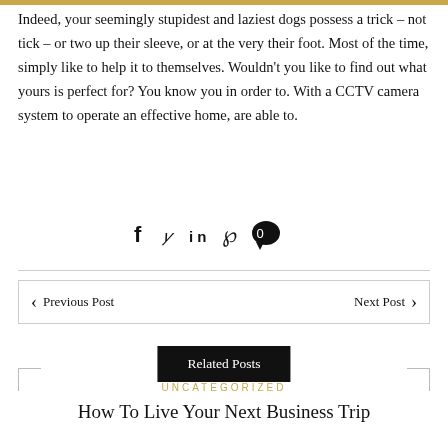Indeed, your seemingly stupidest and laziest dogs possess a trick – not tick – or two up their sleeve, or at the very their foot. Most of the time, simply like to help it to themselves. Wouldn't you like to find out what yours is perfect for? You know you in order to. With a CCTV camera system to operate an effective home, are able to.
[Figure (infographic): Social share icons: Facebook, Twitter, LinkedIn, Pinterest, comment bubble with 0]
◀ Previous Post    Next Post ▶
Related Posts
UNCATEGORIZED
How To Live Your Next Business Trip